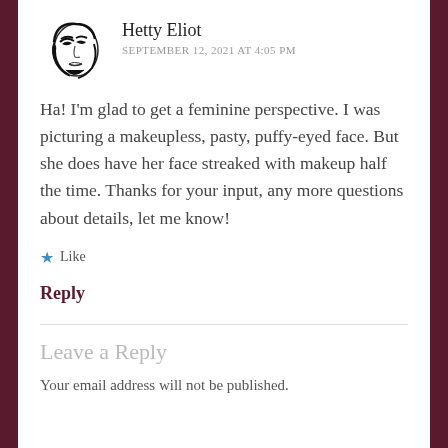[Figure (illustration): Avatar/profile image showing a stylized black and white drawing of a woman's face with dramatic eye makeup]
Hetty Eliot
SEPTEMBER 12, 2021 AT 4:05 PM
Ha! I'm glad to get a feminine perspective. I was picturing a makeupless, pasty, puffy-eyed face. But she does have her face streaked with makeup half the time. Thanks for your input, any more questions about details, let me know!
★ Like
Reply
Leave a Reply
Your email address will not be published.